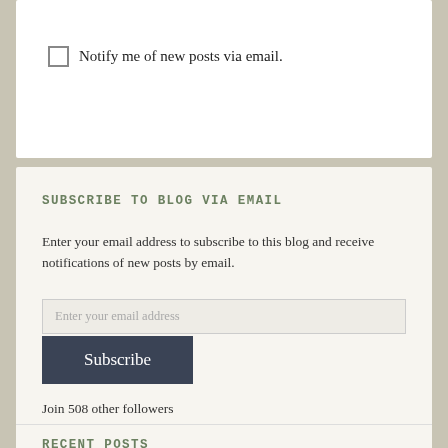Notify me of new posts via email.
SUBSCRIBE TO BLOG VIA EMAIL
Enter your email address to subscribe to this blog and receive notifications of new posts by email.
Enter your email address
Subscribe
Join 508 other followers
RECENT POSTS
» Celebration of Life for Jesse  August 29, 2021
» All Times Soon  August 20, 2021